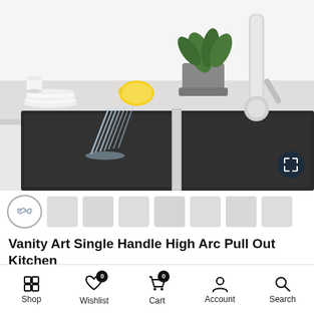[Figure (photo): A stainless steel double-bowl undermount kitchen sink with a chrome high-arc pull-out faucet running water. A lemon, stacked white plates, and a potted plant are visible on the white countertop nearby. An expand/fullscreen button is visible in the lower right of the image.]
[Figure (other): Thumbnail navigation strip showing multiple small product image thumbnails, the first highlighted with an infinity/loop icon outline.]
Vanity Art Single Handle High Arc Pull Out Kitchen
Shop  Wishlist 0  Cart 0  Account  Search